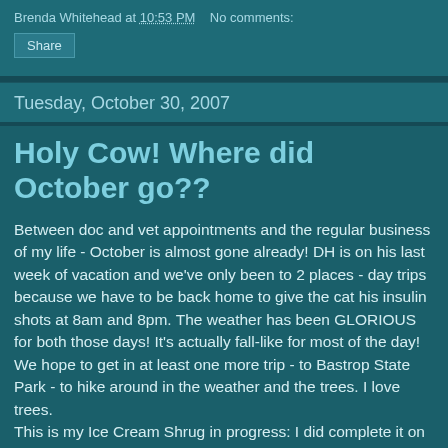Brenda Whitehead at 10:53 PM   No comments:
Share
Tuesday, October 30, 2007
Holy Cow! Where did October go??
Between doc and vet appointments and the regular business of my life - October is almost gone already! DH is on his last week of vacation and we've only been to 2 places - day trips because we have to be back home to give the cat his insulin shots at 8am and 8pm. The weather has been GLORIOUS for both those days! It's actually fall-like for most of the day! We hope to get in at least one more trip - to Bastrop State Park - to hike around in the weather and the trees. I love trees.
This is my Ice Cream Shrug in progress: I did complete it on October 21 and wore it on the Day Trip to the Natural Bridge Caverns and The NB Wildlife Ranch (San Antonio).